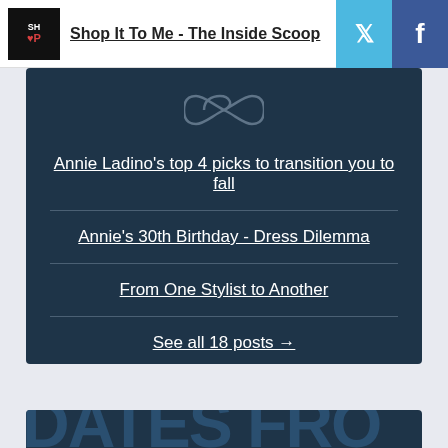Shop It To Me - The Inside Scoop
Annie Ladino's top 4 picks to transition you to fall
Annie's 30th Birthday - Dress Dilemma
From One Stylist to Another
See all 18 posts →
DATES FRO